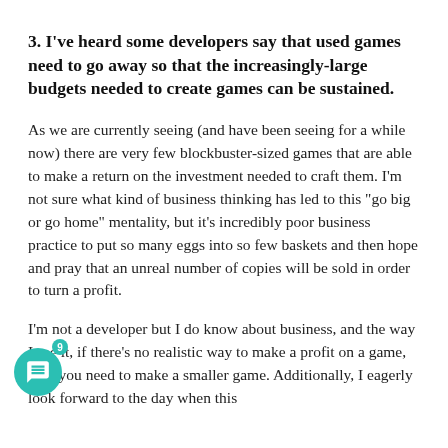3. I've heard some developers say that used games need to go away so that the increasingly-large budgets needed to create games can be sustained.
As we are currently seeing (and have been seeing for a while now) there are very few blockbuster-sized games that are able to make a return on the investment needed to craft them. I'm not sure what kind of business thinking has led to this "go big or go home" mentality, but it's incredibly poor business practice to put so many eggs into so few baskets and then hope and pray that an unreal number of copies will be sold in order to turn a profit.
I'm not a developer but I do know about business, and the way I see it, if there's no realistic way to make a profit on a game, then you need to make a smaller game. Additionally, I eagerly look forward to the day when this